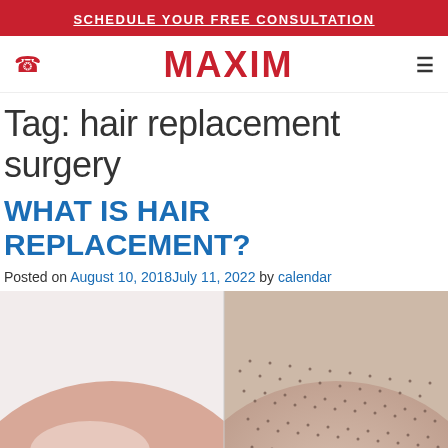SCHEDULE YOUR FREE CONSULTATION
MAXIM
Tag: hair replacement surgery
WHAT IS HAIR REPLACEMENT?
Posted on August 10, 2018July 11, 2022 by calendar
[Figure (photo): Split image showing a bald scalp on the left side and a scalp with short hair on the right side, illustrating hair replacement results.]